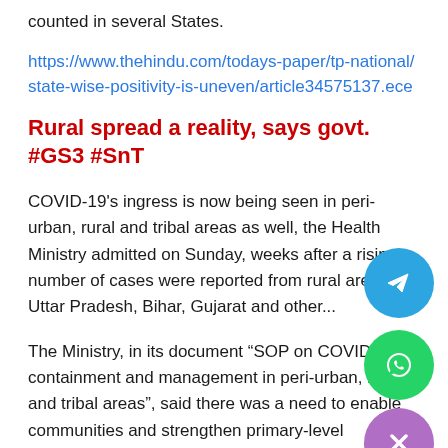counted in several States.
https://www.thehindu.com/todays-paper/tp-national/state-wise-positivity-is-uneven/article34575137.ece
Rural spread a reality, says govt. #GS3 #SnT
COVID-19's ingress is now being seen in peri-urban, rural and tribal areas as well, the Health Ministry admitted on Sunday, weeks after a rising number of cases were reported from rural areas in Uttar Pradesh, Bihar, Gujarat and other...
The Ministry, in its document “SOP on COVID-19 containment and management in peri-urban, rural and tribal areas”, said there was a need to enable communities and strengthen primary-level healthcare infrastructure at all levels to intensify COVID-19 response in these new areas,